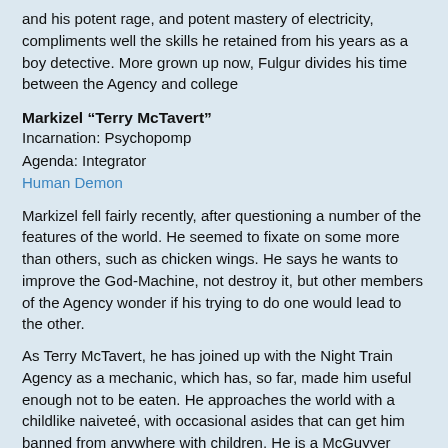and his potent rage, and potent mastery of electricity, compliments well the skills he retained from his years as a boy detective. More grown up now, Fulgur divides his time between the Agency and college
Markizel “Terry McTavert”
Incarnation: Psychopomp
Agenda: Integrator
Human Demon
Markizel fell fairly recently, after questioning a number of the features of the world. He seemed to fixate on some more than others, such as chicken wings. He says he wants to improve the God-Machine, not destroy it, but other members of the Agency wonder if his trying to do one would lead to the other.
As Terry McTavert, he has joined up with the Night Train Agency as a mechanic, which has, so far, made him useful enough not to be eaten. He approaches the world with a childlike naiveté, with occasional asides that can get him banned from anywhere with children. He is a McGuyver trope.
First session was Saturday, and on “Off weeks” I will be putting up backgrounds or local introductory material. So something like that coming up Saturday, then in a week from then journals for session 1. Comments and Questions welcome.
Last edited by Baroness Nerak; 03-19-2016, 04:59 AM.